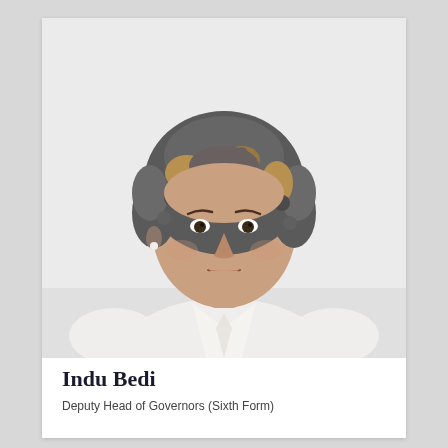[Figure (photo): Professional headshot of a woman with curly salt-and-pepper hair, wearing a white blouse with a tie neck, smiling, against a light grey background.]
Indu Bedi
Deputy Head of Governors (Sixth Form)